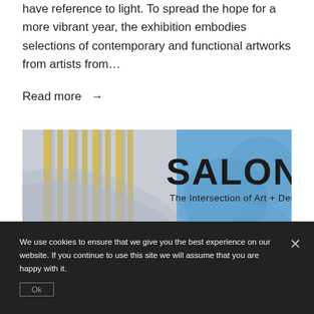have reference to light. To spread the hope for a more vibrant year, the exhibition embodies selections of contemporary and functional artworks from artists from…
Read more →
[Figure (illustration): Promotional image for 'SALON: The Intersection of Art + Design' exhibition, showing architectural staircase forms in gold/yellow tones on the left with blue geometric shapes and bold black text 'SALON' and subtitle 'The Intersection of Art + Design' on the right.]
We use cookies to ensure that we give you the best experience on our website. If you continue to use this site we will assume that you are happy with it.
Ok